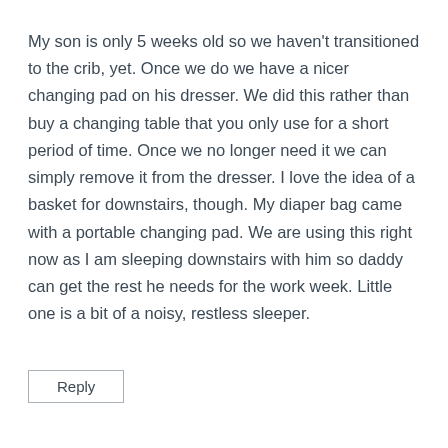My son is only 5 weeks old so we haven't transitioned to the crib, yet. Once we do we have a nicer changing pad on his dresser. We did this rather than buy a changing table that you only use for a short period of time. Once we no longer need it we can simply remove it from the dresser. I love the idea of a basket for downstairs, though. My diaper bag came with a portable changing pad. We are using this right now as I am sleeping downstairs with him so daddy can get the rest he needs for the work week. Little one is a bit of a noisy, restless sleeper.
Reply